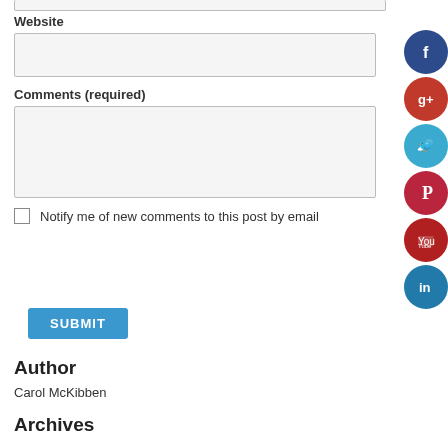Website
Comments (required)
Notify me of new comments to this post by email
SUBMIT
Author
Carol McKibben
Archives
[Figure (infographic): Social media share buttons: Facebook (dark blue), Google+ (red), Twitter (light blue), Pinterest (dark red), YouTube (red), LinkedIn (blue)]